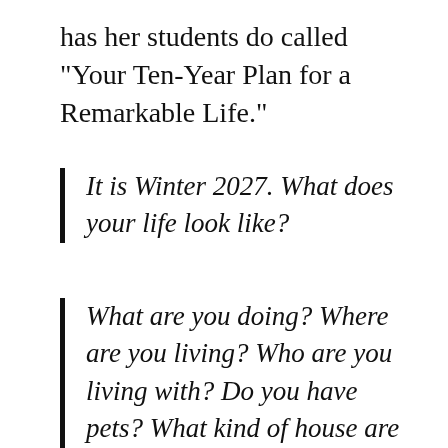has her students do called "Your Ten-Year Plan for a Remarkable Life."
It is Winter 2027. What does your life look like?
What are you doing? Where are you living? Who are you living with? Do you have pets? What kind of house are you in? Is it an apartment are you in the city are you in the country? What does your furniture look like? What is your